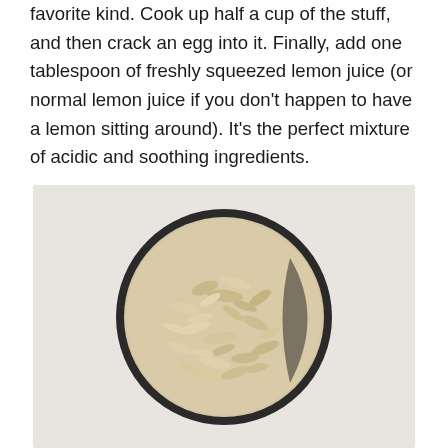favorite kind. Cook up half a cup of the stuff, and then crack an egg into it. Finally, add one tablespoon of freshly squeezed lemon juice (or normal lemon juice if you don't happen to have a lemon sitting around). It's the perfect mixture of acidic and soothing ingredients.
[Figure (photo): Overhead view of a dark round bowl filled with dry rolled oats, photographed on a light gray background]